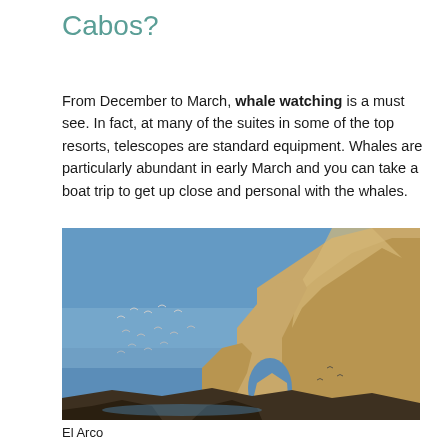Cabos?
From December to March, whale watching is a must see. In fact, at many of the suites in some of the top resorts, telescopes are standard equipment. Whales are particularly abundant in early March and you can take a boat trip to get up close and personal with the whales.
[Figure (photo): El Arco rock formation in Cabos, showing large golden sandstone arch rock against a blue sky with birds flying in the background and ocean visible below.]
El Arco